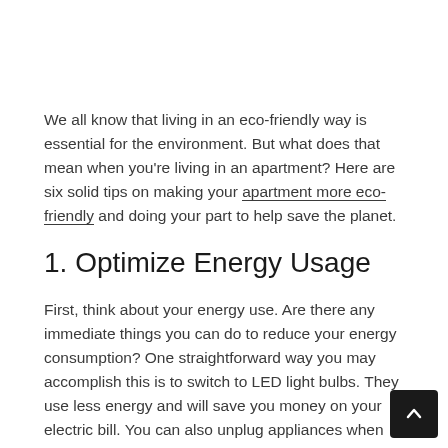We all know that living in an eco-friendly way is essential for the environment. But what does that mean when you're living in an apartment? Here are six solid tips on making your apartment more eco-friendly and doing your part to help save the planet.
1. Optimize Energy Usage
First, think about your energy use. Are there any immediate things you can do to reduce your energy consumption? One straightforward way you may accomplish this is to switch to LED light bulbs. They use less energy and will save you money on your electric bill. You can also unplug appliances when